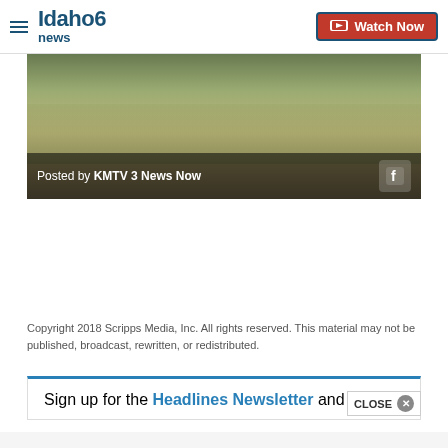Idaho News 6 — Watch Now
[Figure (photo): Grassy hillside landscape with a Facebook posted-by bar reading 'Posted by KMTV 3 News Now' with a Facebook icon on the right]
Copyright 2018 Scripps Media, Inc. All rights reserved. This material may not be published, broadcast, rewritten, or redistributed.
Sign up for the Headlines Newsletter and
CLOSE ×